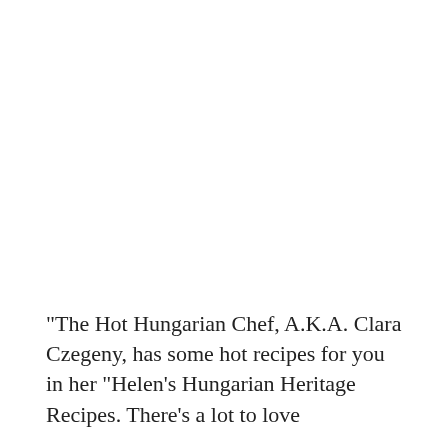"The Hot Hungarian Chef, A.K.A. Clara Czegeny, has some hot recipes for you in her "Helen's Hungarian Heritage Recipes. There's a lot to love